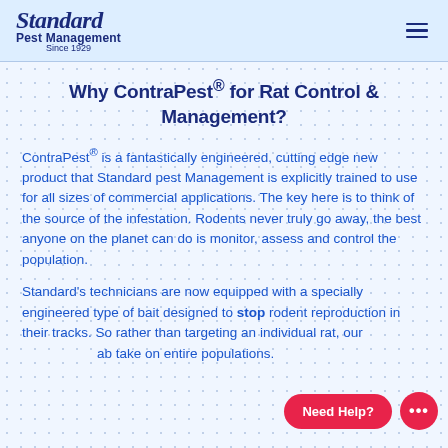Standard Pest Management Since 1929
Why ContraPest® for Rat Control & Management?
ContraPest® is a fantastically engineered, cutting edge new product that Standard pest Management is explicitly trained to use for all sizes of commercial applications. The key here is to think of the source of the infestation. Rodents never truly go away, the best anyone on the planet can do is monitor, assess and control the population.
Standard's technicians are now equipped with a specially engineered type of bait designed to stop rodent reproduction in their tracks. So rather than targeting an individual rat, our [Need Help?] ab[...] take on entire populations.